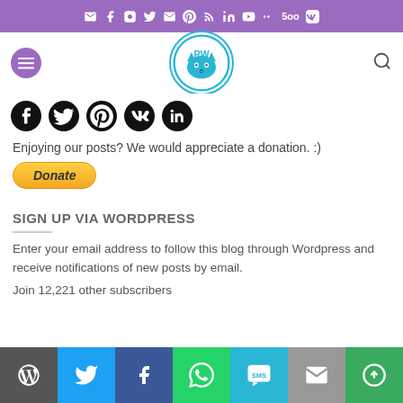Social share icons bar (top purple bar with social media icons)
[Figure (screenshot): Website navigation header with hamburger menu (purple circle), KatzenWelt logo (blue circle with cat), and search icon]
[Figure (infographic): Social media icons row: Facebook, Twitter, Pinterest, VK, LinkedIn]
Enjoying our posts? We would appreciate a donation. :)
[Figure (other): PayPal Donate button (orange/gold rounded button with italic bold 'Donate' text)]
SIGN UP VIA WORDPRESS
Enter your email address to follow this blog through Wordpress and receive notifications of new posts by email.
Join 12,221 other subscribers
Bottom share bar: WordPress, Twitter, Facebook, WhatsApp, SMS, Email, More